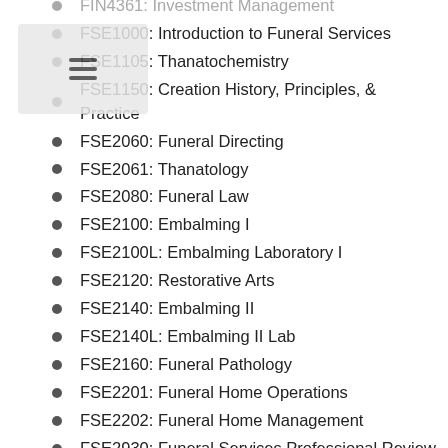FIN4361: Investment Management
FSE1000: Introduction to Funeral Services
FSE1105: Thanatochemistry
FSE1150: Creation History, Principles, & Practice
FSE2060: Funeral Directing
FSE2061: Thanatology
FSE2080: Funeral Law
FSE2100: Embalming I
FSE2100L: Embalming Laboratory I
FSE2120: Restorative Arts
FSE2140: Embalming II
FSE2140L: Embalming II Lab
FSE2160: Funeral Pathology
FSE2201: Funeral Home Operations
FSE2202: Funeral Home Management
FSE2930: Funeral Services Professional Review
FSE2946: Funeral Services Professional Practicum
GEA1000: World Geography
GEB1011: Introduction to Business
GEB2930: Business Administration Capstone
GEB3213: Business Writing